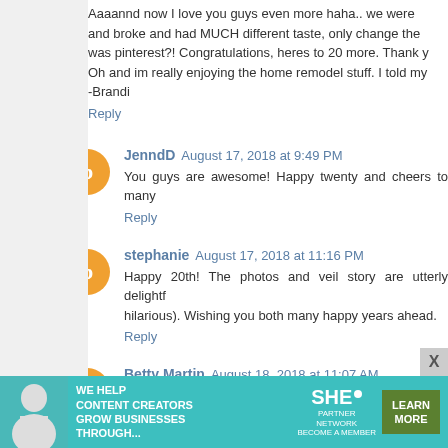Aaaannd now I love you guys even more haha.. we were and broke and had MUCH different taste, only change the was pinterest?! Congratulations, heres to 20 more. Thank y Oh and im really enjoying the home remodel stuff. I told my -Brandi
Reply
JenndD August 17, 2018 at 9:49 PM
You guys are awesome! Happy twenty and cheers to many
Reply
stephanie August 17, 2018 at 11:16 PM
Happy 20th! The photos and veil story are utterly delightf hilarious). Wishing you both many happy years ahead.
Reply
Betty Martin August 18, 2018 at 11:07 AM
Are you kidding? He married you for that cute little tus
[Figure (infographic): SHE Media advertisement banner: 'We help content creators grow businesses through...' with SHE Partner Network logo and Learn More button]